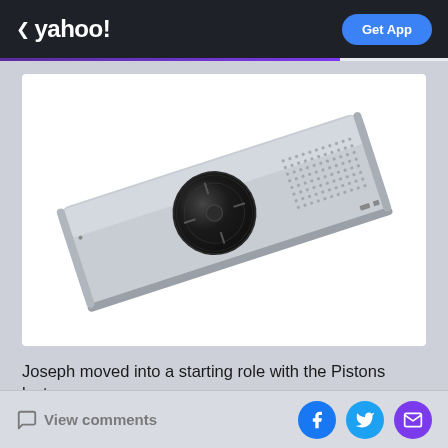< yahoo!  Get App
[Figure (photo): A silver rectangular electronic device (conference speaker or similar) with a large circular black dial/control knob in the center and speaker grille on the right side, photographed at an angle on a white background.]
Joseph moved into a starting role with the Pistons last
View comments  [Facebook] [Twitter] [Email]